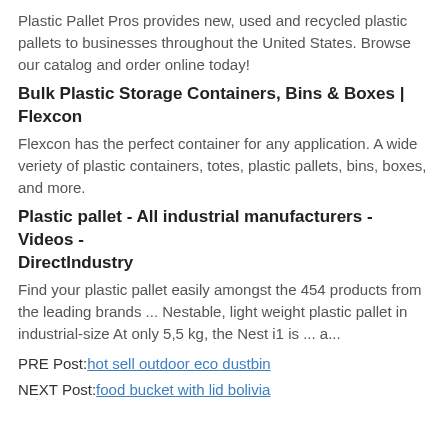Plastic Pallet Pros provides new, used and recycled plastic pallets to businesses throughout the United States. Browse our catalog and order online today!
Bulk Plastic Storage Containers, Bins & Boxes | Flexcon
Flexcon has the perfect container for any application. A wide veriety of plastic containers, totes, plastic pallets, bins, boxes, and more.
Plastic pallet - All industrial manufacturers - Videos - DirectIndustry
Find your plastic pallet easily amongst the 454 products from the leading brands ... Nestable, light weight plastic pallet in industrial-size At only 5,5 kg, the Nest i1 is ... a...
PRE Post: hot sell outdoor eco dustbin
NEXT Post: food bucket with lid bolivia